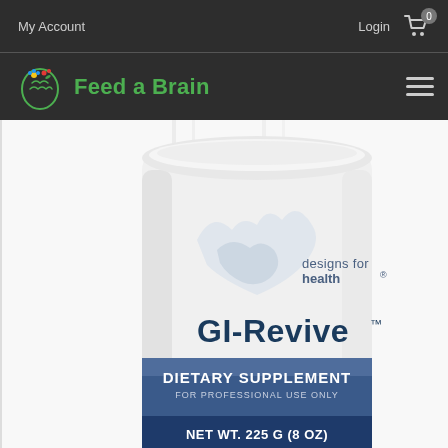My Account   Login   Cart (0)
[Figure (logo): Feed a Brain logo with colorful brain icon and green text]
[Figure (photo): GI-Revive dietary supplement powder tub by Designs for Health. White container with blue label reading: DIETARY SUPPLEMENT FOR PROFESSIONAL USE ONLY, NET WT. 225 G (8 OZ)]